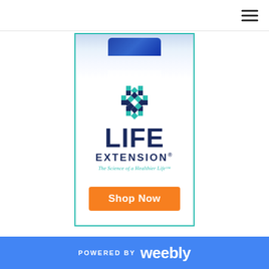[Figure (logo): Navigation bar with hamburger menu icon in top right corner]
[Figure (advertisement): Life Extension advertisement banner with blue supplement bottle at top, hexagonal logo, LIFE EXTENSION brand name, tagline 'The Science of a Healthier Life', and orange Shop Now button]
POWERED BY weebly